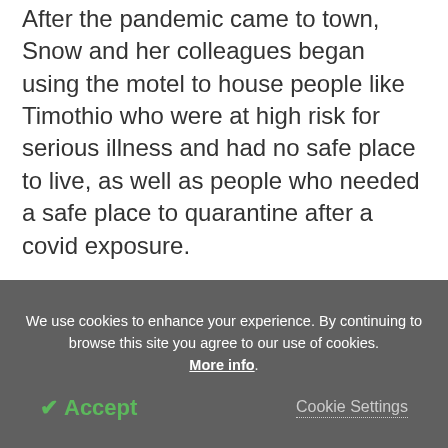After the pandemic came to town, Snow and her colleagues began using the motel to house people like Timothio who were at high risk for serious illness and had no safe place to live, as well as people who needed a safe place to quarantine after a covid exposure.
We use cookies to enhance your experience. By continuing to browse this site you agree to our use of cookies. More info.
✔ Accept
Cookie Settings